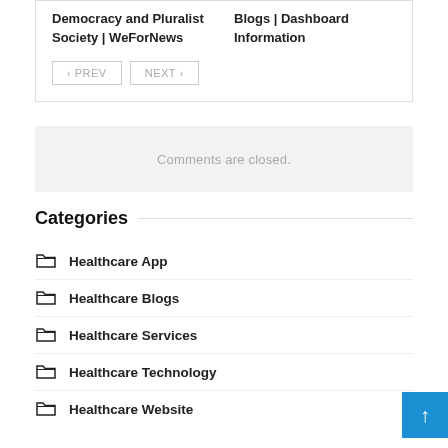Democracy and Pluralist Society | WeForNews
Blogs | Dashboard Information
« PREV   NEXT »
Comments are closed.
Categories
Healthcare App
Healthcare Blogs
Healthcare Services
Healthcare Technology
Healthcare Website